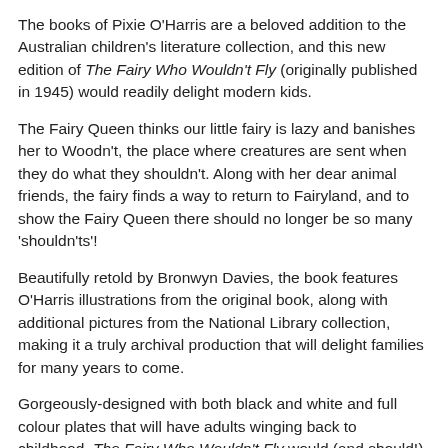The books of Pixie O'Harris are a beloved addition to the Australian children's literature collection, and this new edition of The Fairy Who Wouldn't Fly (originally published in 1945) would readily delight modern kids.
The Fairy Queen thinks our little fairy is lazy and banishes her to Woodn't, the place where creatures are sent when they do what they shouldn't. Along with her dear animal friends, the fairy finds a way to return to Fairyland, and to show the Fairy Queen there should no longer be so many 'shouldn'ts'!
Beautifully retold by Bronwyn Davies, the book features O'Harris illustrations from the original book, along with additional pictures from the National Library collection, making it a truly archival production that will delight families for many years to come.
Gorgeously-designed with both black and white and full colour plates that will have adults winging back to childhood, The Fairy Who Wouldn't Fly would (and should!) make for a divine birth or Christening gift.